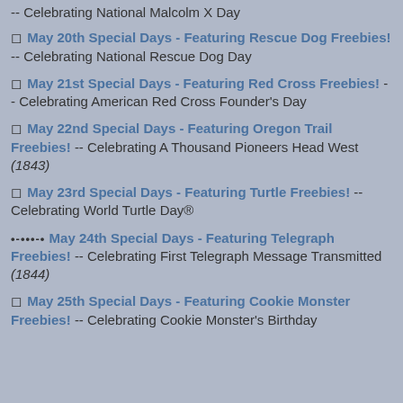-- Celebrating National Malcolm X Day
May 20th Special Days - Featuring Rescue Dog Freebies! -- Celebrating National Rescue Dog Day
May 21st Special Days - Featuring Red Cross Freebies! -- Celebrating American Red Cross Founder's Day
May 22nd Special Days - Featuring Oregon Trail Freebies! -- Celebrating A Thousand Pioneers Head West (1843)
May 23rd Special Days - Featuring Turtle Freebies! -- Celebrating World Turtle Day®
May 24th Special Days - Featuring Telegraph Freebies! -- Celebrating First Telegraph Message Transmitted (1844)
May 25th Special Days - Featuring Cookie Monster Freebies! -- Celebrating Cookie Monster's Birthday